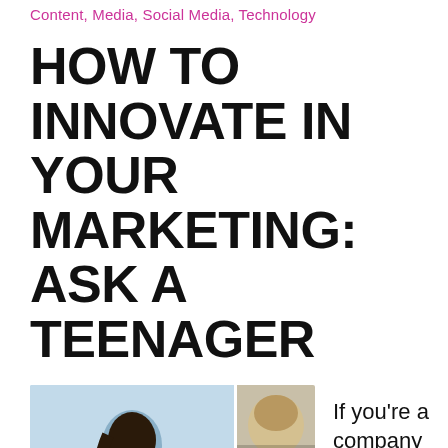Content, Media, Social Media, Technology
HOW TO INNOVATE IN YOUR MARKETING: ASK A TEENAGER
[Figure (photo): Photo collage: main image of a woman in a teal/mint strapless gown with SHERRI HILL label, beside two smaller fashion/hair photos with a heart icon and number 118 overlay, and another smaller image with 117]
If you're a company looking